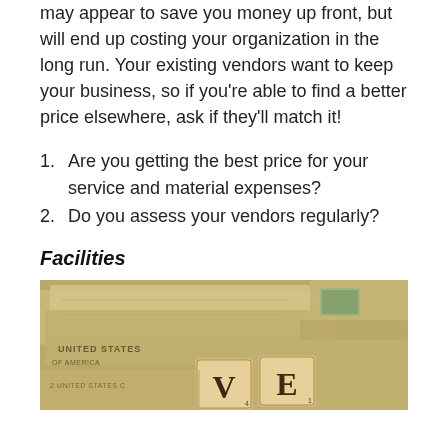may appear to save you money up front, but will end up costing your organization in the long run. Your existing vendors want to keep your business, so if you're able to find a better price elsewhere, ask if they'll match it!
1.   Are you getting the best price for your service and material expenses?
2.   Do you assess your vendors regularly?
Facilities
[Figure (photo): Photo of US dollar bills spread out with Scrabble letter tiles on top, showing letters V and E visible.]